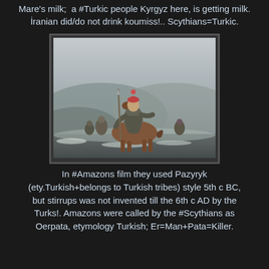Mare's milk;  a #Turkic people Kyrgyz here, is getting milk.
İranian did/do not drink koumiss!.. Scythians=Turkic.
[Figure (photo): A photograph showing horseback riders in misty, wintry landscape. The lead rider wears a red hat and traditional clothing, carrying a spear, riding a brown horse. Other riders follow behind in foggy hilly terrain with snow on the ground.]
In #Amazons film they used Pazyryk (ety.Turkish+belongs to Turkish tribes) style 5th c BC, but stirrups was not invented till the 6th c AD by the Turks!. Amazons were called by the #Scythians as Oerpata, etymology Turkish; Er=Man+Pata=Killer.